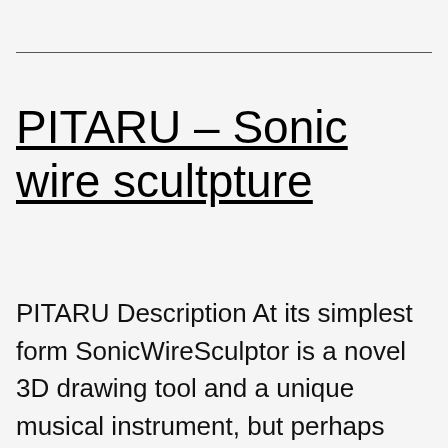PITARU – Sonic wire scultpture
PITARU Description At its simplest form SonicWireSculptor is a novel 3D drawing tool and a unique musical instrument, but perhaps most important – its just fun to play with. The project started out as a personal instrument for Pitaru to perform on. During concerts